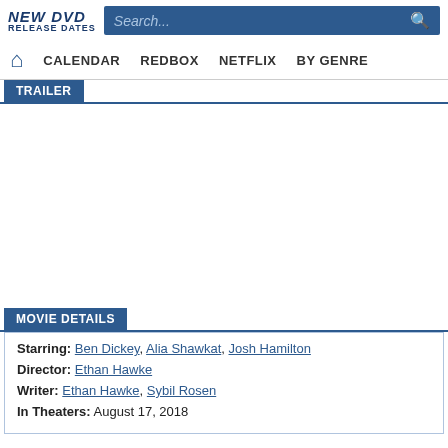NEW DVD RELEASE DATES | Search... | CALENDAR | REDBOX | NETFLIX | BY GENRE
TRAILER
[Figure (other): Blank trailer video embed area]
MOVIE DETAILS
Starring: Ben Dickey, Alia Shawkat, Josh Hamilton
Director: Ethan Hawke
Writer: Ethan Hawke, Sybil Rosen
In Theaters: August 17, 2018